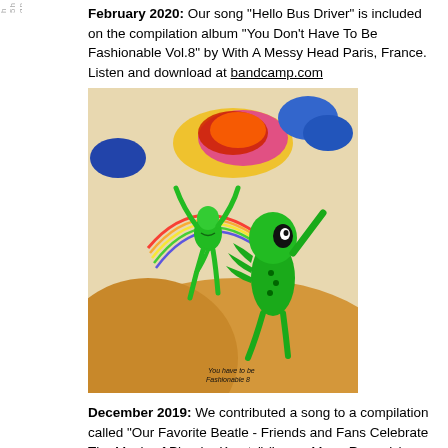February 2020: Our song "Hello Bus Driver" is included on the compilation album "You Don't Have To Be Fashionable Vol.8" by With A Messy Head Paris, France. Listen and download at bandcamp.com
[Figure (illustration): Album art showing two green alien/lizard-like creatures dancing on a sandy desert landscape with colorful clouds and surreal sky above. Text at bottom reads 'You have to be Fashionable 8'.]
December 2019: We contributed a song to a compilation called "Our Favorite Beatle - Friends and Fans Celebrate The Music of Phoebe Kreutz" (Lousy Moon Records). Woog Riots recorded Phoebe's song "Caveman, Caveman". Listen and download at bandcamp.com
[Figure (photo): Bottom portion of album cover for 'Phoebe Kreutz Our Favourite Beatle' showing yellow banner text on dark background.]